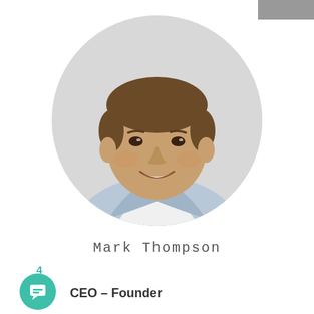[Figure (photo): Circular headshot photo of a smiling man with short brown hair wearing a light blue collared shirt, against a light gray background]
Mark Thompson
4
CEO – Founder